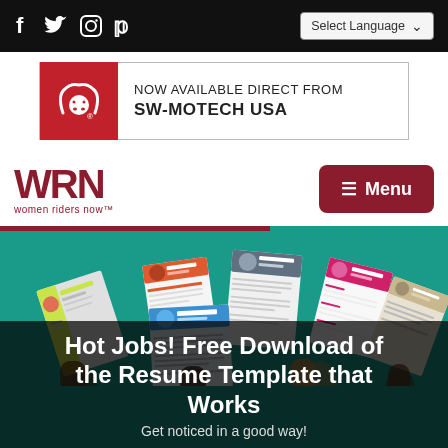f  twitter  instagram  pinterest | Select Language
[Figure (illustration): SW-Motech USA advertisement banner with red bull logo and text NOW AVAILABLE DIRECT FROM SW-MOTECH USA]
[Figure (logo): WRN - Women Riders Now logo in dark red]
[Figure (illustration): Menu hamburger button in dark red]
[Figure (illustration): Hero section showing colorful resume template illustrations on teal background with hands holding them up. Overlay text: Hot Jobs! Free Download of the Resume Template that Works. Get noticed in a good way!]
Hot Jobs! Free Download of the Resume Template that Works
Get noticed in a good way!